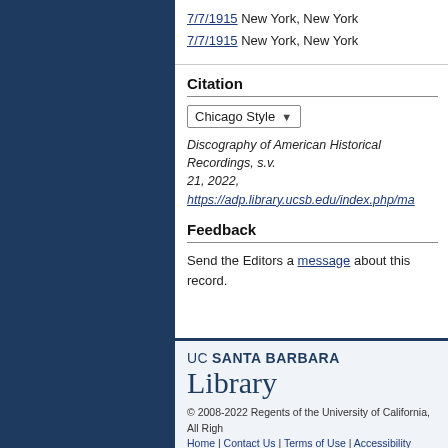7/7/1915 New York, New York
7/7/1915 New York, New York
Citation
Chicago Style
Discography of American Historical Recordings, s.v. 21, 2022, https://adp.library.ucsb.edu/index.php/ma
Feedback
Send the Editors a message about this record.
UC SANTA BARBARA Library © 2008-2022 Regents of the University of California, All Rights Reserved. Home | Contact Us | Terms of Use | Accessibility